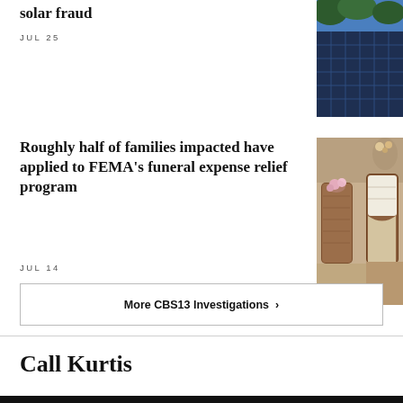solar fraud
JUL 25
[Figure (photo): Solar panels on a rooftop under blue sky]
Roughly half of families impacted have applied to FEMA's funeral expense relief program
JUL 14
[Figure (photo): Funeral caskets with flowers in a funeral home]
More CBS13 Investigations ›
Call Kurtis